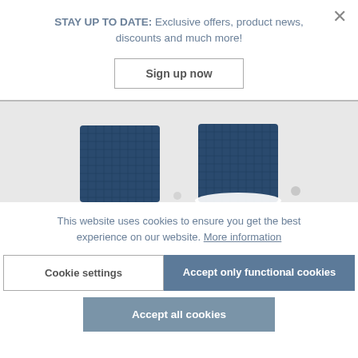STAY UP TO DATE: Exclusive offers, product news, discounts and much more!
Sign up now
[Figure (photo): Product photo showing two blue mesh/woven objects (possibly speakers or watch bands) on a light grey background]
This website uses cookies to ensure you get the best experience on our website. More information
Cookie settings
Accept only functional cookies
Accept all cookies